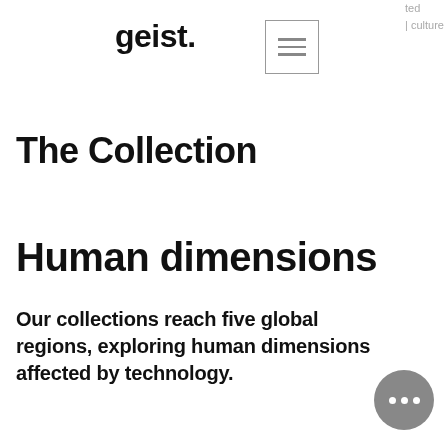ted | culture
geist.
[Figure (other): Hamburger menu icon in a square border]
The Collection
Human dimensions
Our collections reach five global regions, exploring human dimensions affected by technology.
[Figure (other): Circular button with three dots (ellipsis)]